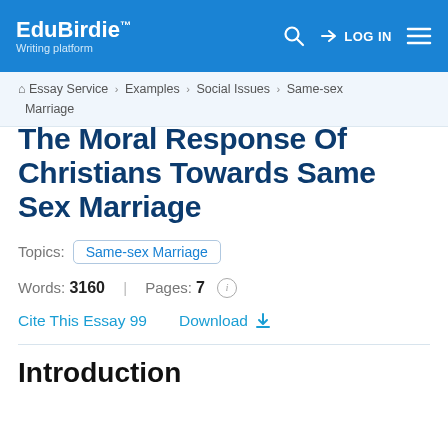EduBirdie™ Writing platform | LOG IN
Essay Service > Examples > Social Issues > Same-sex Marriage
The Moral Response Of Christians Towards Same Sex Marriage
Topics: Same-sex Marriage
Words: 3160 | Pages: 7
Cite This Essay 99   Download
Introduction